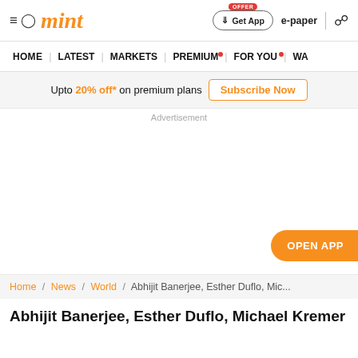mint — HOME | LATEST | MARKETS | PREMIUM | FOR YOU | WA...
Upto 20% off* on premium plans Subscribe Now
Advertisement
OPEN APP
Home / News / World / Abhijit Banerjee, Esther Duflo, Mic...
Abhijit Banerjee, Esther Duflo, Michael Kremer